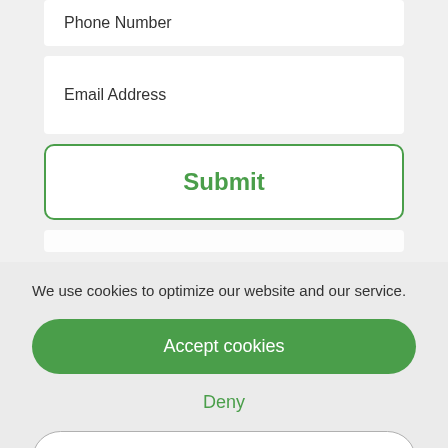Phone Number
Email Address
Submit
We use cookies to optimize our website and our service.
Accept cookies
Deny
View preferences